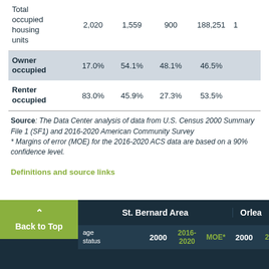|  | 2000 | 2016-2020 | MOE* | 2000 |  |
| --- | --- | --- | --- | --- | --- |
| Total occupied housing units | 2,020 | 1,559 | 900 | 188,251 | 1 |
| Owner occupied | 17.0% | 54.1% | 48.1% | 46.5% |  |
| Renter occupied | 83.0% | 45.9% | 27.3% | 53.5% |  |
Source: The Data Center analysis of data from U.S. Census 2000 Summary File 1 (SF1) and 2016-2020 American Community Survey * Margins of error (MOE) for the 2016-2020 ACS data are based on a 90% confidence level.
Definitions and source links
| age status | St. Bernard Area 2000 | St. Bernard Area 2016-2020 | St. Bernard Area MOE* | Orlea 2000 | Orlea 2 |
| --- | --- | --- | --- | --- | --- |